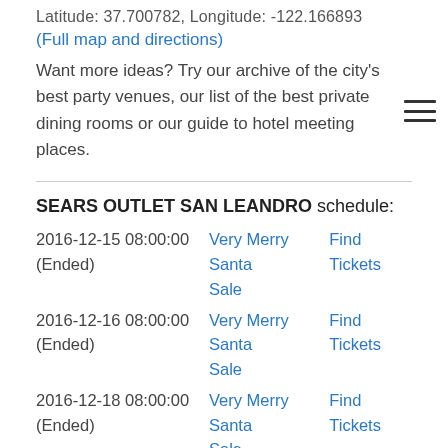Latitude: 37.700782, Longitude: -122.166893
(Full map and directions)
Want more ideas? Try our archive of the city's best party venues, our list of the best private dining rooms or our guide to hotel meeting places.
SEARS OUTLET SAN LEANDRO schedule:
| Date | Event | Action |
| --- | --- | --- |
| 2016-12-15 08:00:00
(Ended) | Very Merry Santa Sale | Find Tickets |
| 2016-12-16 08:00:00
(Ended) | Very Merry Santa Sale | Find Tickets |
| 2016-12-18 08:00:00
(Ended) | Very Merry Santa Sale | Find Tickets |
| 2016-12-19 08:00:00
(Ended) | Very Merry Santa Sale | Find Tickets |
| 2016-12-20 08:00:00
(Ended) | Very Merry Santa Sale | Find Tickets |